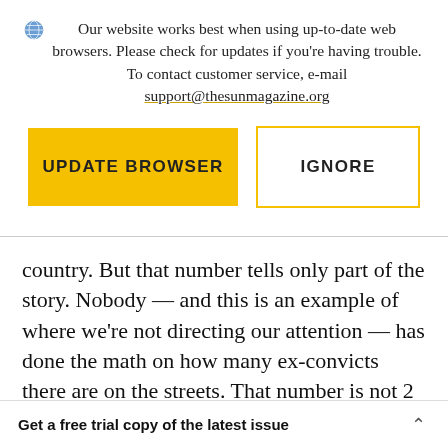Our website works best when using up-to-date web browsers. Please check for updates if you're having trouble. To contact customer service, e-mail support@thesunmagazine.org
[Figure (other): Two buttons: 'UPDATE BROWSER' (filled yellow) and 'IGNORE' (yellow outline)]
country. But that number tells only part of the story. Nobody — and this is an example of where we're not directing our attention — has done the math on how many ex-convicts there are on the streets. That number is not 2 million, but a
Get a free trial copy of the latest issue